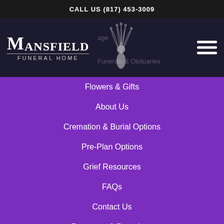CALL US (817) 453-3009
[Figure (logo): Mansfield Funeral Home logo with peacock illustration on dark background, with hamburger menu icon on the right]
Flowers & Gifts
About Us
Cremation & Burial Options
Pre-Plan Options
Grief Resources
FAQs
Contact Us
Payments & Donations